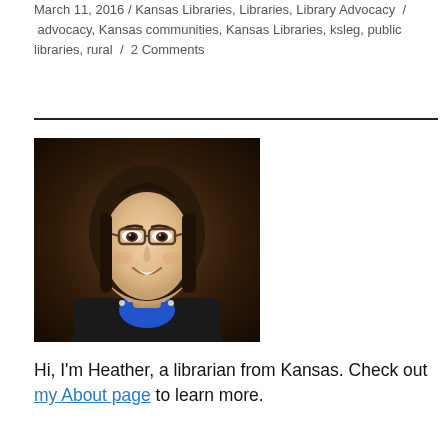March 11, 2016 / Kansas Libraries, Libraries, Library Advocacy / advocacy, Kansas communities, Kansas Libraries, ksleg, public libraries, rural / 2 Comments
[Figure (photo): Professional headshot of a woman with long dark hair, wearing glasses, a black blazer, blue top, and pearl necklace, smiling at camera against a dark brown background.]
Hi, I'm Heather, a librarian from Kansas. Check out my About page to learn more.